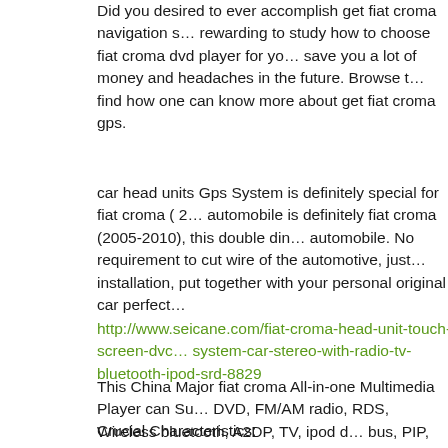Did you desired to ever accomplish get fiat croma navigation... rewarding to study how to choose fiat croma dvd player for yo... save you a lot of money and headaches in the future. Browse t... find how one can know more about get fiat croma gps.
car head units Gps System is definitely special for fiat croma ( 2... automobile is definitely fiat croma (2005-2010), this double din... automobile. No requirement to cut wire of the automotive, just... installation, put together with your personal original car perfect...
http://www.seicane.com/fiat-croma-head-unit-touch-screen-dvc... system-car-stereo-with-radio-tv-bluetooth-ipod-srd-8829
This China Major fiat croma All-in-one Multimedia Player can Su... DVD, FM/AM radio, RDS, Wireless bluetooth, A2DP, TV, ipod de... bus, PIP, AUX, Rearview Camera, Steering Wheel Manage and s... croma dvd player provide you a lot more enjoyment than manu... radio. Assistance together with the Navigation systems, you wi... navigation, you could go any place!
Crucial Characteristics: